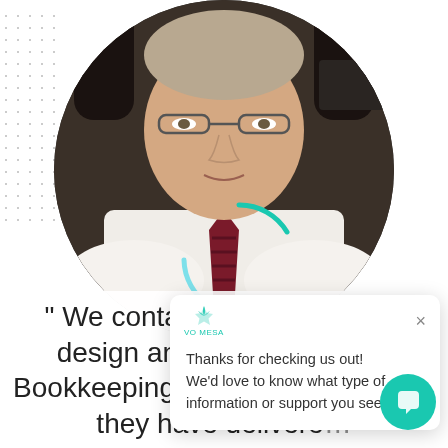[Figure (photo): Circular cropped portrait photo of a middle-aged man in a white dress shirt and dark striped tie, seated in a dark leather chair, wearing glasses, with a teal loading arc graphic overlaid on the lower portion of the circle.]
[Figure (screenshot): Chat widget popup box with Vortex (Vo Mesa) logo, close X button, and text: 'Thanks for checking us out! We'd love to know what type of information or support you seek.']
" We contacted Vab Media to design and help launch the Bookkeeping Ch website. Since they have delivere...